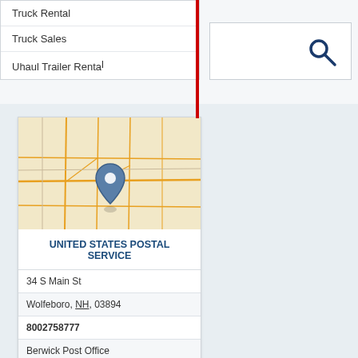Truck Rental
Truck Sales
Uhaul Trailer Renta[l]
[Figure (screenshot): Search input box with magnifying glass icon]
[Figure (map): Road map showing location pin in Wolfeboro, NH area]
UNITED STATES POSTAL SERVICE
34 S Main St
Wolfeboro, NH, 03894
8002758777
Berwick Post Office
Mail & Shipping Services
Mail Shipping Services
Post Offices
South Berwick Post Office
V
[Figure (map): Road map showing location pin, bottom partial card]